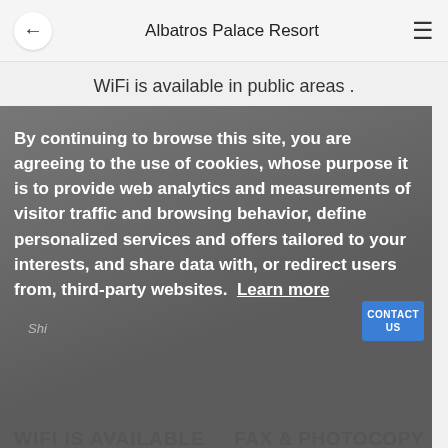Albatros Palace Resort
WiFi is available in public areas .
[Figure (screenshot): Cookie consent overlay on top of a fax machine photo. Shows text about cookies policy, a 'Learn more' link, 'WIFI IS AVAILABLE' and 'FAX & PHOTOCOPY' labels at the bottom of the overlay image.]
By continuing to browse this site, you are agreeing to the use of cookies, whose purpose it is to provide web analytics and measurements of visitor traffic and browsing behavior, define personalized services and offers tailored to your interests, and share data with, or redirect users from, third-party websites.  Learn more
Got it
[Figure (screenshot): Bottom section showing 'BOOK NOW' button panel in tan/brown and a right panel with 'En...' language badge in bottom right corner.]